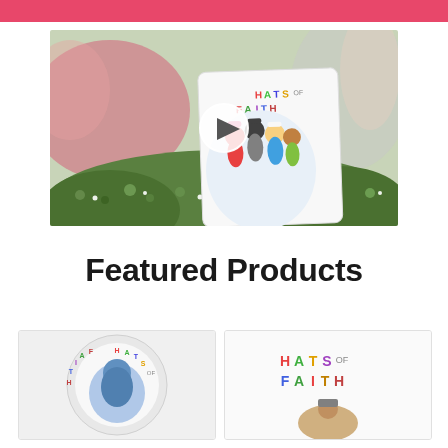[Figure (photo): Photo of a 'Hats of Faith' children's book propped among green foliage outdoors, with a play button overlay in the center. The book cover shows colorful illustrated people of diverse faiths wearing different head coverings. Background is blurred with pink and outdoor tones.]
Featured Products
[Figure (photo): Circular product image showing the 'Hats of Faith' book cover as a round badge/sticker design with a blue illustrated figure on a grey background.]
[Figure (photo): Rectangular product image showing the 'Hats of Faith' book cover with colorful lettering and an illustration of someone wearing a head covering.]